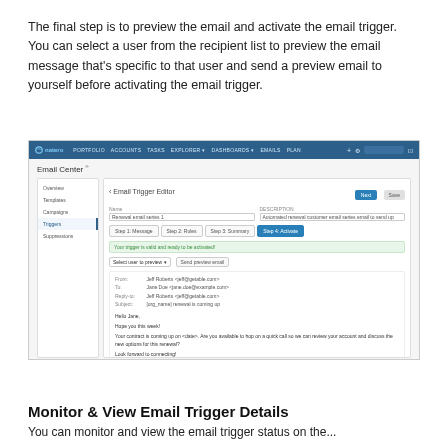The final step is to preview the email and activate the email trigger. You can select a user from the recipient list to preview the email message that's specific to that user and send a preview email to yourself before activating the email trigger.
[Figure (screenshot): Screenshot of Natero Email Center application showing Email Trigger Editor with sidebar navigation (Overview, Templates, Campaigns, Triggers, Suppressions), a form with Name and Description fields, step tabs (Step 1: Message, Step 2: Rules, Step 3: Summary, Step 4: Activate), a green success bar saying the trigger is valid and ready to be activated, a user preview selector dropdown, a Send Preview email button, and an email preview showing From/To/Reply-to/Subject fields and email body from Jeff Roberts to Jane Doe.]
Monitor & View Email Trigger Details
You can monitor and view the email trigger status on the...